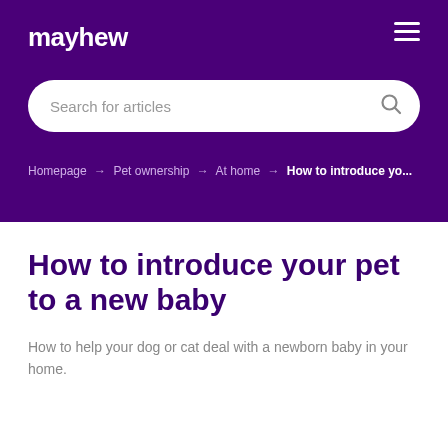mayhew
Search for articles
Homepage → Pet ownership → At home → How to introduce yo...
How to introduce your pet to a new baby
How to help your dog or cat deal with a newborn baby in your home.